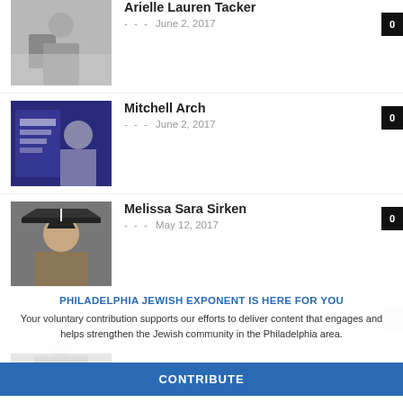[Figure (photo): Photo of Arielle Lauren Tacker standing in front of garage door]
Arielle Lauren Tacker
- - - June 2, 2017
[Figure (photo): Photo of Mitchell Arch with Villanova University School of Business banner]
Mitchell Arch
- - - June 2, 2017
[Figure (photo): Photo of Melissa Sara Sirken in graduation cap]
Melissa Sara Sirken
- - - May 12, 2017
[Figure (photo): Partially visible photo of Brian Footer]
Brian Footer
PHILADELPHIA JEWISH EXPONENT IS HERE FOR YOU
Your voluntary contribution supports our efforts to deliver content that engages and helps strengthen the Jewish community in the Philadelphia area.
CONTRIBUTE